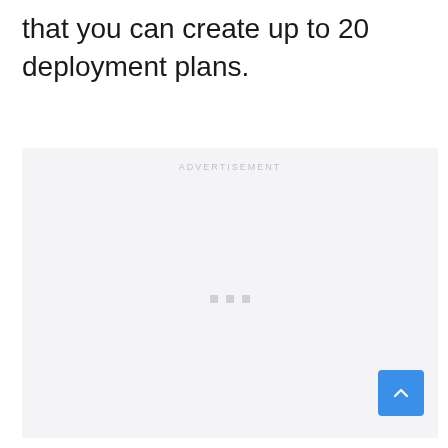that you can create up to 20 deployment plans.
[Figure (other): Advertisement placeholder box with light gray background, 'ADVERTISEMENT' label at top center, and three small gray square dots in the middle area.]